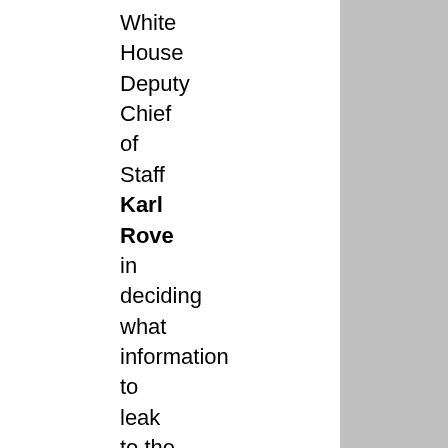White House Deputy Chief of Staff Karl Rove in deciding what information to leak to the press to build public support for the war.